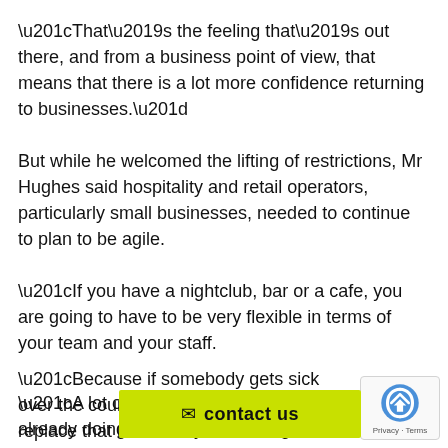“That’s the feeling that’s out there, and from a business point of view, that means that there is a lot more confidence returning to businesses.”
But while he welcomed the lifting of restrictions, Mr Hughes said hospitality and retail operators, particularly small businesses, needed to continue to plan to be agile.
“If you have a nightclub, bar or a cafe, you are going to have to be very flexible in terms of your team and your staff.
“Because if somebody gets sick over the course of 2022 you need to replace that member of staff.
“A lot of small businesses are already doing this, they are calling on family and friends to plug the gaps as best they can.
[Figure (other): reCAPTCHA badge with Privacy and Terms links]
contact us button with envelope icon